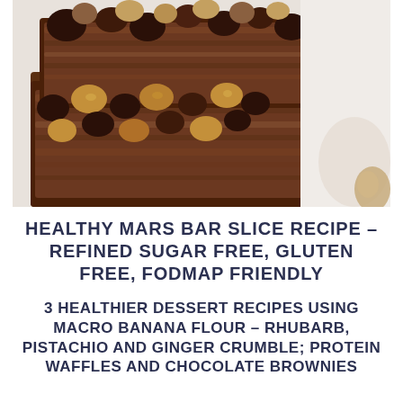[Figure (photo): Close-up photo of chocolate-covered nut and grain bars (resembling Mars Bar Slice) with chunky nuts and chocolate pieces on top, on a white background]
HEALTHY MARS BAR SLICE RECIPE – REFINED SUGAR FREE, GLUTEN FREE, FODMAP FRIENDLY
3 HEALTHIER DESSERT RECIPES USING MACRO BANANA FLOUR – RHUBARB, PISTACHIO AND GINGER CRUMBLE; PROTEIN WAFFLES AND CHOCOLATE BROWNIES